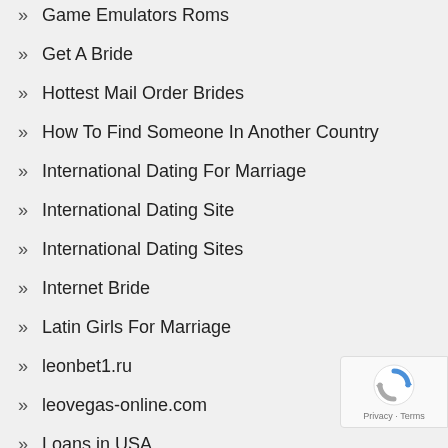Game Emulators Roms
Get A Bride
Hottest Mail Order Brides
How To Find Someone In Another Country
International Dating For Marriage
International Dating Site
International Dating Sites
Internet Bride
Latin Girls For Marriage
leonbet1.ru
leovegas-online.com
Loans in USA
[Figure (logo): reCAPTCHA badge with rotating arrows icon and Privacy · Terms text]